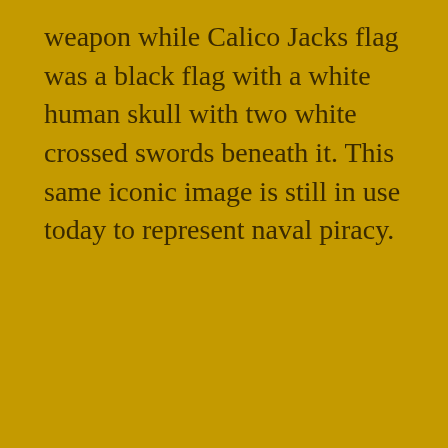weapon while Calico Jacks flag was a black flag with a white human skull with two white crossed swords beneath it. This same iconic image is still in use today to represent naval piracy.